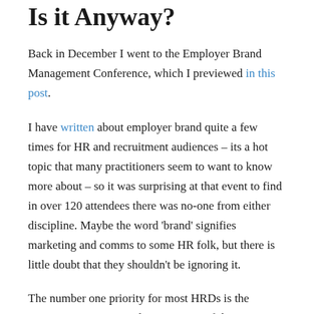Is it Anyway?
Back in December I went to the Employer Brand Management Conference, which I previewed in this post.
I have written about employer brand quite a few times for HR and recruitment audiences – its a hot topic that many practitioners seem to want to know more about – so it was surprising at that event to find in over 120 attendees there was no-one from either discipline. Maybe the word 'brand' signifies marketing and comms to some HR folk, but there is little doubt that they shouldn't be ignoring it.
The number one priority for most HRDs is the attraction, retention and engagement of the employees